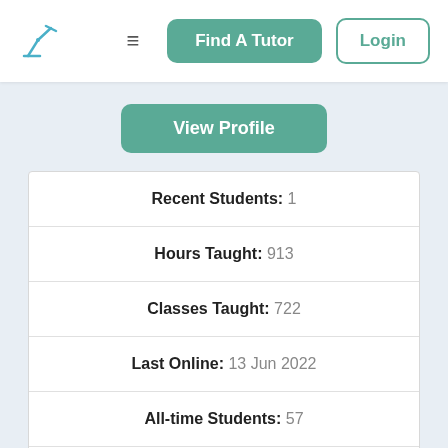Find A Tutor | Login
View Profile
| Field | Value |
| --- | --- |
| Recent Students: | 1 |
| Hours Taught: | 913 |
| Classes Taught: | 722 |
| Last Online: | 13 Jun 2022 |
| All-time Students: | 57 |
| Signed Up: | 06 Mar 2017 |